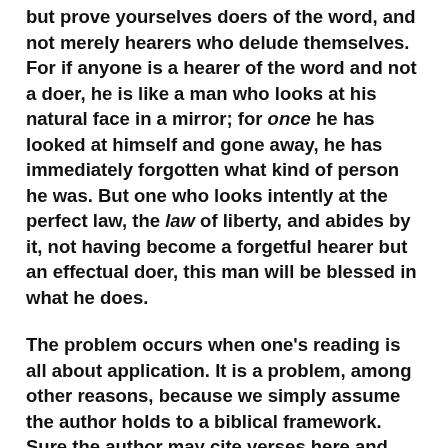but prove yourselves doers of the word, and not merely hearers who delude themselves.  For if anyone is a hearer of the word and not a doer, he is like a man who looks at his natural face in a mirror; for once he has looked at himself and gone away, he has immediately forgotten what kind of person he was. But one who looks intently at the perfect law, the law of liberty, and abides by it, not having become a forgetful hearer but an effectual doer, this man will be blessed in what he does.
The problem occurs when one's reading is all about application. It is a problem, among other reasons, because we simply assume the author holds to a biblical framework. Sure the author may cite verses here and there, but are they handling Scripture responsibly? It takes biblical and theological discernment to determine whether that is the case.